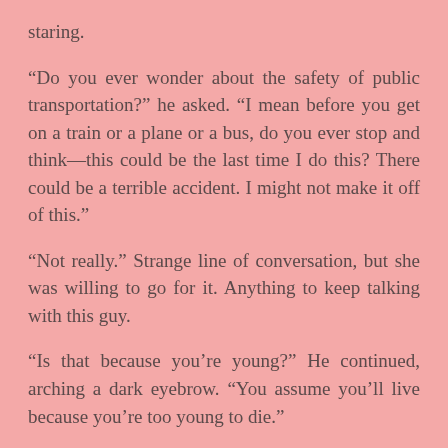staring.
“Do you ever wonder about the safety of public transportation?” he asked. “I mean before you get on a train or a plane or a bus, do you ever stop and think—this could be the last time I do this? There could be a terrible accident. I might not make it off of this.”
“Not really.” Strange line of conversation, but she was willing to go for it. Anything to keep talking with this guy.
“Is that because you’re young?” He continued, arching a dark eyebrow. “You assume you’ll live because you’re too young to die.”
Devon shrugged, and a strange, prickly sensation prodded at her skin. “I don’t know. Maybe. How old are you?” She would have guessed he was mid-twenties. Thirty at the most.